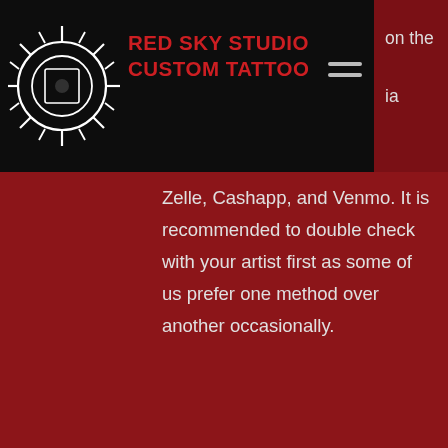Red Sky Studio Custom Tattoo
Zelle, Cashapp, and Venmo. It is recommended to double check with your artist first as some of us prefer one method over another occasionally.
What kind of ink do you use? Is it safe? Is it vegan?
We use Solid, Fusion, Dynamic, and Eternal Inks. They are all safe, reliable brands.
"All of our pigments are vegan and cruelty free. Made in the USA." (Solid Ink)
"We use cutting edge technology to